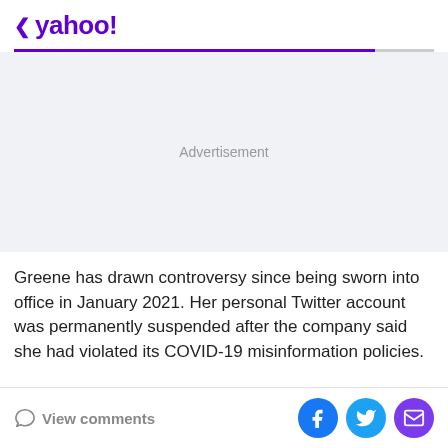< yahoo!
Advertisement
Greene has drawn controversy since being sworn into office in January 2021. Her personal Twitter account was permanently suspended after the company said she had violated its COVID-19 misinformation policies.
View comments